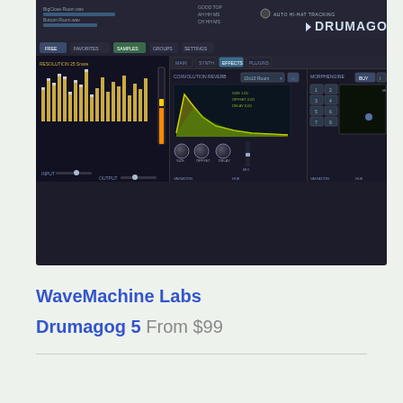[Figure (screenshot): Drumagog 5 drum replacement plugin UI screenshot showing waveform editor on left, convolution reverb effects panel in center with yellow impulse response curve on dark background, and morph engine panel on right with grid and texture canvas. Navigation tabs visible at bottom: FREE, FAVORITES, SAMPLES, GROUPS, SETTINGS, DRUMAGOG logo. Auto Hi-Hat Tracking indicator in top right.]
WaveMachine Labs
Drumagog 5 From $99